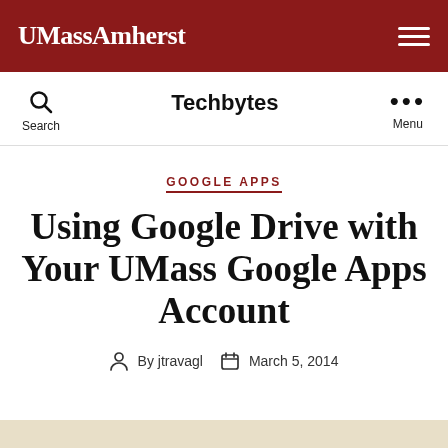UMassAmherst
Techbytes
GOOGLE APPS
Using Google Drive with Your UMass Google Apps Account
By jtravagl   March 5, 2014